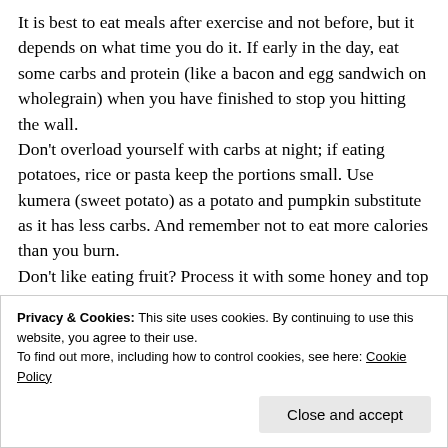It is best to eat meals after exercise and not before, but it depends on what time you do it. If early in the day, eat some carbs and protein (like a bacon and egg sandwich on wholegrain) when you have finished to stop you hitting the wall.
Don't overload yourself with carbs at night; if eating potatoes, rice or pasta keep the portions small. Use kumera (sweet potato) as a potato and pumpkin substitute as it has less carbs. And remember not to eat more calories than you burn.
Don't like eating fruit? Process it with some honey and top up with skim milk or organic apple juice to make a smoothie. Add a banana and you have lunch.
Privacy & Cookies: This site uses cookies. By continuing to use this website, you agree to their use.
To find out more, including how to control cookies, see here: Cookie Policy